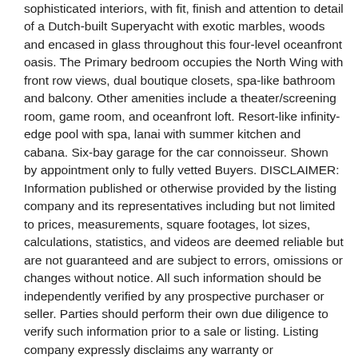sophisticated interiors, with fit, finish and attention to detail of a Dutch-built Superyacht with exotic marbles, woods and encased in glass throughout this four-level oceanfront oasis. The Primary bedroom occupies the North Wing with front row views, dual boutique closets, spa-like bathroom and balcony. Other amenities include a theater/screening room, game room, and oceanfront loft. Resort-like infinity-edge pool with spa, lanai with summer kitchen and cabana. Six-bay garage for the car connoisseur. Shown by appointment only to fully vetted Buyers. DISCLAIMER: Information published or otherwise provided by the listing company and its representatives including but not limited to prices, measurements, square footages, lot sizes, calculations, statistics, and videos are deemed reliable but are not guaranteed and are subject to errors, omissions or changes without notice. All such information should be independently verified by any prospective purchaser or seller. Parties should perform their own due diligence to verify such information prior to a sale or listing. Listing company expressly disclaims any warranty or representation regarding such information. Prices published are either list price, sold price, and/or last asking price. The listing company participates in the Multiple Listing Service and IDX. The properties published as listed and sold are not necessarily exclusive to listing company and may be listed or have